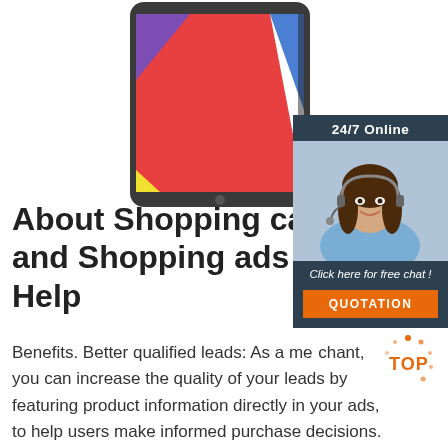[Figure (illustration): A smartphone/tablet device with colorful geometric shapes (red, blue, purple, yellow) displayed on its screen, shown from a slightly angled perspective against a white background.]
[Figure (photo): A sidebar widget with dark blue/slate background showing '24/7 Online' text at top, a photo of a smiling woman with a headset (customer support agent), italic text 'Click here for free chat!', and an orange QUOTATION button. A TOP badge with orange dots appears at bottom right.]
About Shopping campaigns and Shopping ads - Google Help
Benefits. Better qualified leads: As a merchant, you can increase the quality of your leads by featuring product information directly in your ads, to help users make informed purchase decisions. This makes users more likely to complete a purchase on your site. For example, when Sally does a Google search for 'fish bowl,' she might